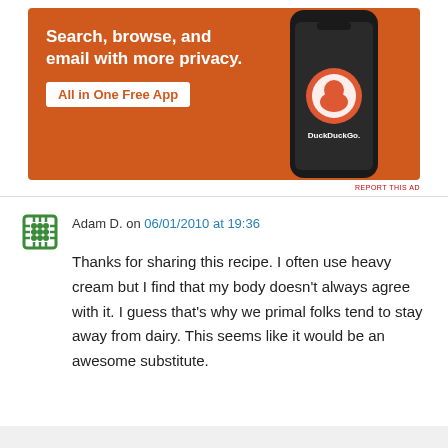[Figure (screenshot): DuckDuckGo advertisement banner: orange background with text 'Search, browse, and email with more privacy.' and button 'All in One Free App', alongside an image of a smartphone displaying the DuckDuckGo app icon and name.]
REPORT THIS AD
Adam D. on 06/01/2010 at 19:36
Thanks for sharing this recipe. I often use heavy cream but I find that my body doesn't always agree with it. I guess that's why we primal folks tend to stay away from dairy. This seems like it would be an awesome substitute.
★ Like
↳ Reply